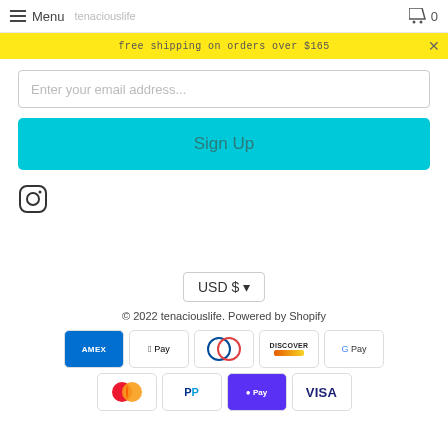Menu  0
free shipping on orders over $165
Enter your email address...
Sign Up
[Figure (logo): Instagram icon]
USD $ ▼
© 2022 tenaciouslife. Powered by Shopify
[Figure (other): Payment method icons: American Express, Apple Pay, Diners Club, Discover, Google Pay, Mastercard, PayPal, Shop Pay, Visa]